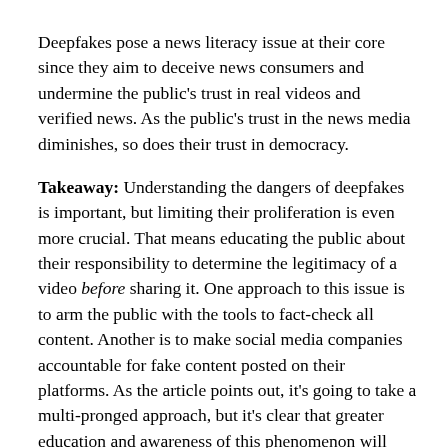Deepfakes pose a news literacy issue at their core since they aim to deceive news consumers and undermine the public's trust in real videos and verified news. As the public's trust in the news media diminishes, so does their trust in democracy.
Takeaway: Understanding the dangers of deepfakes is important, but limiting their proliferation is even more crucial. That means educating the public about their responsibility to determine the legitimacy of a video before sharing it. One approach to this issue is to arm the public with the tools to fact-check all content. Another is to make social media companies accountable for fake content posted on their platforms. As the article points out, it's going to take a multi-pronged approach, but it's clear that greater education and awareness of this phenomenon will help the public navigate the internet and stay clear of